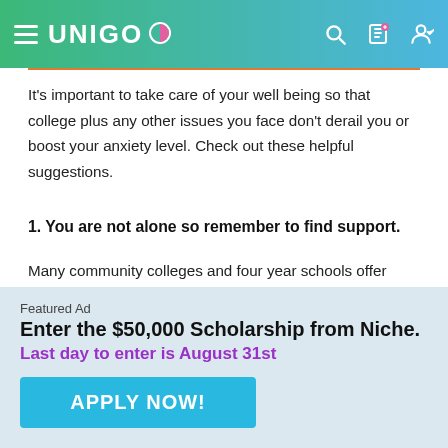UNIGO
It’s important to take care of your well being so that college plus any other issues you face don’t derail you or boost your anxiety level. Check out these helpful suggestions.
1. You are not alone so remember to find support.
Many community colleges and four year schools offer counseling services. There might also be online resources, a student hotline and workshops that teach
Featured Ad
Enter the $50,000 Scholarship from Niche.
Last day to enter is August 31st
APPLY NOW!